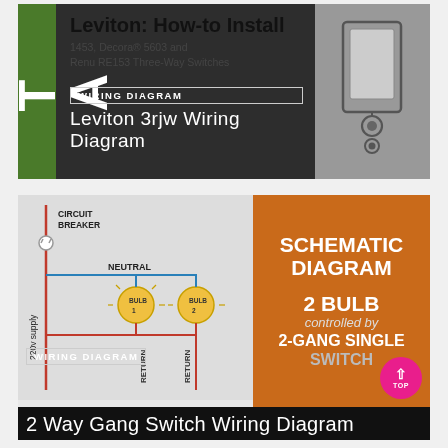[Figure (schematic): Leviton How-to Install card: title 'Leviton: How-to Install', subtitle '1453, Decora® 5603 and Renu RE153 Three-Way Switches', badge 'WIRING DIAGRAM', overlay text 'Leviton 3rjw Wiring Diagram', with a device thumbnail on the right and green/dark background]
[Figure (schematic): 2 Way Gang Switch Wiring Diagram card: left panel shows schematic with circuit breaker, 220v supply, neutral, two bulbs (BULB 1 and BULB 2), return lines; right orange panel shows 'SCHEMATIC DIAGRAM 2 BULB controlled by 2-GANG SINGLE SWITCH'; badge 'WIRING DIAGRAM', title '2 Way Gang Switch Wiring Diagram', pink TOP button]